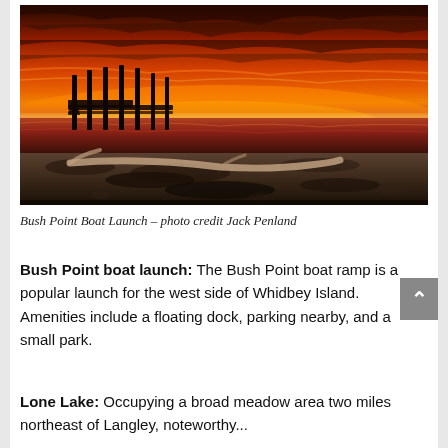[Figure (photo): Dramatic sunset photo of Bush Point Boat Launch showing a dock/pier with pilings silhouetted against a vivid orange and red sky, with a rocky/sandy beach in the foreground and driftwood visible.]
Bush Point Boat Launch – photo credit Jack Penland
Bush Point boat launch: The Bush Point boat ramp is a popular launch for the west side of Whidbey Island. Amenities include a floating dock, parking nearby, and a small park.
Lone Lake: Occupying a broad meadow area two miles northeast of Langley, noteworthy...